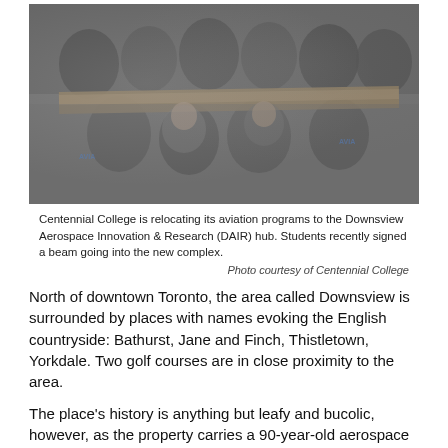[Figure (photo): Group of students in grey Centennial College Aviation hooded sweatshirts holding and leaning over a metal beam, posing and smiling for the camera outdoors.]
Centennial College is relocating its aviation programs to the Downsview Aerospace Innovation & Research (DAIR) hub. Students recently signed a beam going into the new complex.
Photo courtesy of Centennial College
North of downtown Toronto, the area called Downsview is surrounded by places with names evoking the English countryside: Bathurst, Jane and Finch, Thistletown, Yorkdale. Two golf courses are in close proximity to the area.
The place's history is anything but leafy and bucolic, however, as the property carries a 90-year-old aerospace industry legacy.
It was here in 1929 that de Havilland Aircraft of Canada